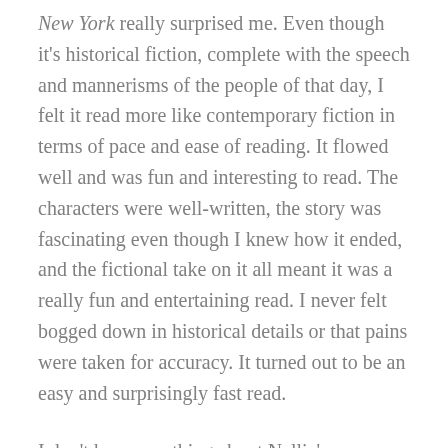New York really surprised me. Even though it's historical fiction, complete with the speech and mannerisms of the people of that day, I felt it read more like contemporary fiction in terms of pace and ease of reading. It flowed well and was fun and interesting to read. The characters were well-written, the story was fascinating even though I knew how it ended, and the fictional take on it all meant it was a really fun and entertaining read. I never felt bogged down in historical details or that pains were taken for accuracy. It turned out to be an easy and surprisingly fast read.
I don't know anything about Nellie's personality or personal life, so can't speak to any accuracy of her characterization, but I really enjoyed it. She's headstrong and stubborn and will clearly do